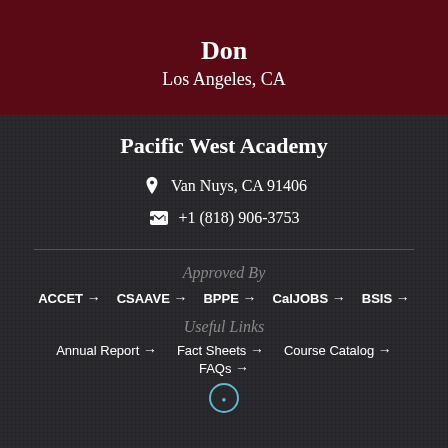Don
Los Angeles, CA
Pacific West Academy
Van Nuys, CA 91406
+1 (818) 906-3753
Approved By
ACCET →
CSAAVE →
BPPE →
CalJOBS →
BSIS →
Useful Links
Annual Report →
Fact Sheets →
Course Catalog →
FAQs →